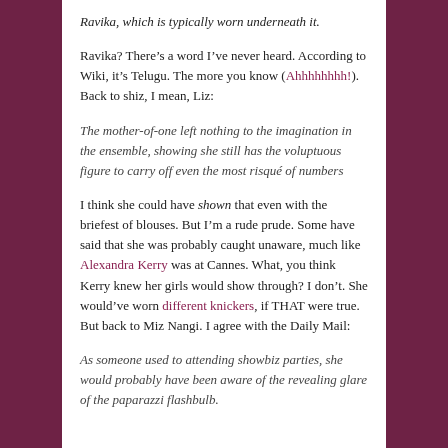Ravika, which is typically worn underneath it.
Ravika? There’s a word I’ve never heard. According to Wiki, it’s Telugu. The more you know (Ahhhhhhhh!). Back to shiz, I mean, Liz:
The mother-of-one left nothing to the imagination in the ensemble, showing she still has the voluptuous figure to carry off even the most risqué of numbers
I think she could have shown that even with the briefest of blouses. But I’m a rude prude. Some have said that she was probably caught unaware, much like Alexandra Kerry was at Cannes. What, you think Kerry knew her girls would show through? I don’t. She would’ve worn different knickers, if THAT were true. But back to Miz Nangi. I agree with the Daily Mail:
As someone used to attending showbiz parties, she would probably have been aware of the revealing glare of the paparazzi flashbulb.